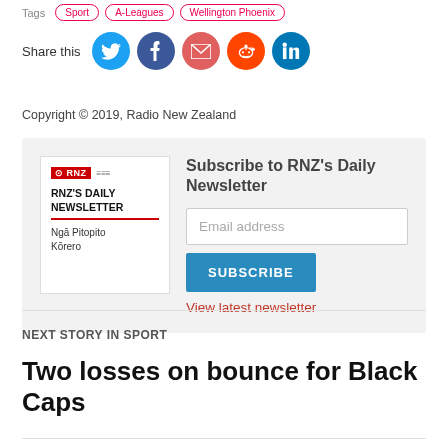Tags: Sport | A-Leagues | Wellington Phoenix
Share this
Copyright © 2019, Radio New Zealand
[Figure (infographic): Newsletter signup box with RNZ logo image on left, 'Subscribe to RNZ's Daily Newsletter' heading, email input field, SUBSCRIBE button, and 'View latest newsletter' link]
NEXT STORY IN SPORT
Two losses on bounce for Black Caps